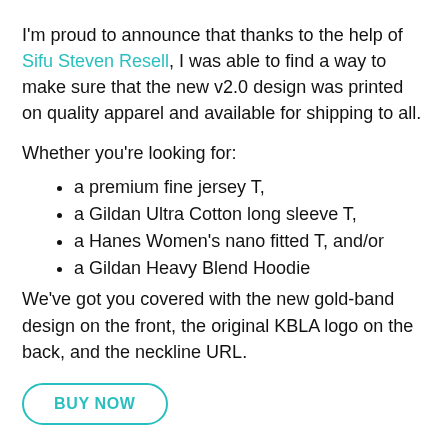I'm proud to announce that thanks to the help of Sifu Steven Resell, I was able to find a way to make sure that the new v2.0 design was printed on quality apparel and available for shipping to all.
Whether you're looking for:
a premium fine jersey T,
a Gildan Ultra Cotton long sleeve T,
a Hanes Women's nano fitted T, and/or
a Gildan Heavy Blend Hoodie
We've got you covered with the new gold-band design on the front, the original KBLA logo on the back, and the neckline URL.
BUY NOW